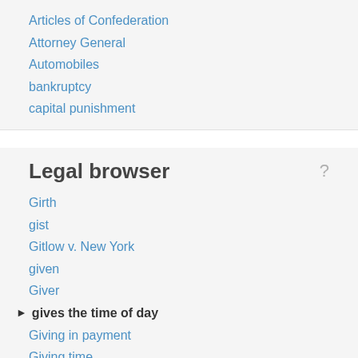Articles of Confederation
Attorney General
Automobiles
bankruptcy
capital punishment
Legal browser
Girth
gist
Gitlow v. New York
given
Giver
gives the time of day
Giving in payment
Giving time
Gladius
Glanvill, Ranulf
Glass, Carter
Glass-Steagall Act